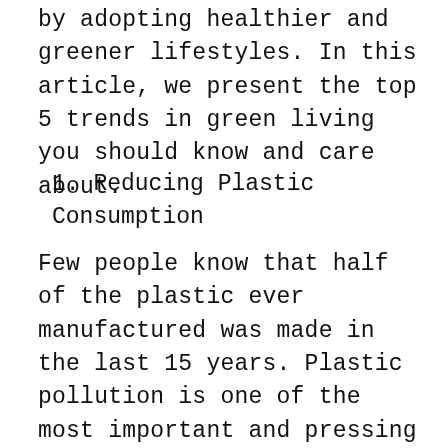by adopting healthier and greener lifestyles. In this article, we present the top 5 trends in green living you should know and care about.
1. Reducing Plastic Consumption
Few people know that half of the plastic ever manufactured was made in the last 15 years. Plastic pollution is one of the most important and pressing environmental issues and is caused only by humans. Sadly, only 9% of the plastic produced worldwide is